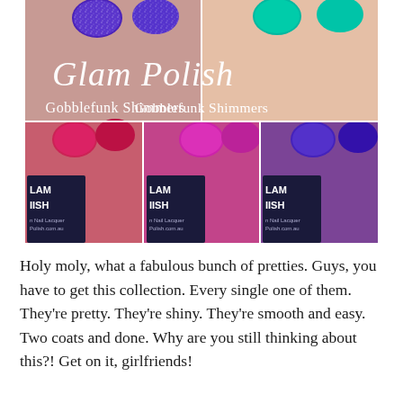[Figure (photo): Collage of Glam Polish nail polishes labeled 'Gobblefunk Shimmers'. Top row shows two hands with nails painted in purple/blue and teal glitter. Bottom row shows three side-by-side photos of hands with Glam Polish bottles: first with red/magenta shimmer, second with hot pink/magenta shimmer, third with deep purple shimmer. Each bottle is labeled 'GLAM POLISH' and 'n Nail Lacquer Polish.com.au'.]
Holy moly, what a fabulous bunch of pretties. Guys, you have to get this collection. Every single one of them. They're pretty. They're shiny. They're smooth and easy. Two coats and done. Why are you still thinking about this?! Get on it, girlfriends!